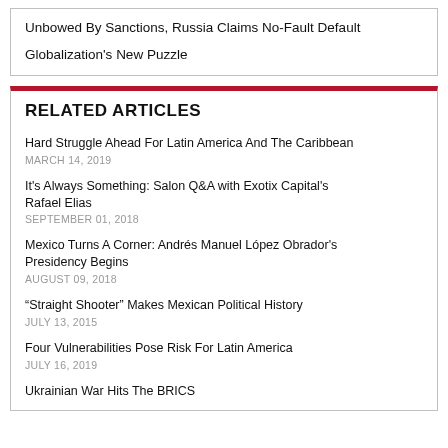Unbowed By Sanctions, Russia Claims No-Fault Default
Globalization's New Puzzle
RELATED ARTICLES
Hard Struggle Ahead For Latin America And The Caribbean
MARCH 14, 2019
It's Always Something: Salon Q&A with Exotix Capital's Rafael Elias
SEPTEMBER 01, 2018
Mexico Turns A Corner: Andrés Manuel López Obrador's Presidency Begins
AUGUST 09, 2018
“Straight Shooter” Makes Mexican Political History
JULY 13, 2015
Four Vulnerabilities Pose Risk For Latin America
JULY 16, 2019
Ukrainian War Hits The BRICS